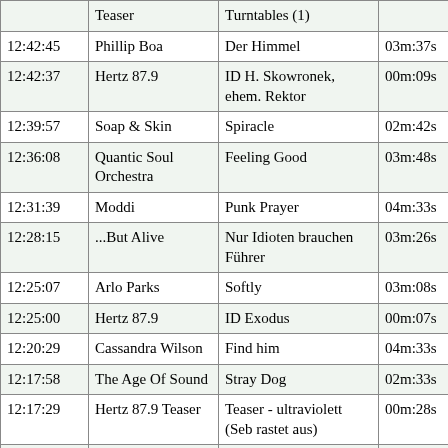| Time | Artist | Title | Duration |
| --- | --- | --- | --- |
|  | Teaser | Turntables (1) |  |
| 12:42:45 | Phillip Boa | Der Himmel | 03m:37s |
| 12:42:37 | Hertz 87.9 | ID H. Skowronek, ehem. Rektor | 00m:09s |
| 12:39:57 | Soap & Skin | Spiracle | 02m:42s |
| 12:36:08 | Quantic Soul Orchestra | Feeling Good | 03m:48s |
| 12:31:39 | Moddi | Punk Prayer | 04m:33s |
| 12:28:15 | ...But Alive | Nur Idioten brauchen Führer | 03m:26s |
| 12:25:07 | Arlo Parks | Softly | 03m:08s |
| 12:25:00 | Hertz 87.9 | ID Exodus | 00m:07s |
| 12:20:29 | Cassandra Wilson | Find him | 04m:33s |
| 12:17:58 | The Age Of Sound | Stray Dog | 02m:33s |
| 12:17:29 | Hertz 87.9 Teaser | Teaser - ultraviolett (Seb rastet aus) | 00m:28s |
| 12:14:02 | Pip Blom | You Don't Want This | 03m:29s |
| 12:10:47 | Jedi Mind Tricks | What's Really Good | 03m:18s |
| 12:08:31 | A Mess | Fuck Your Way to the T... | 02m:17s |